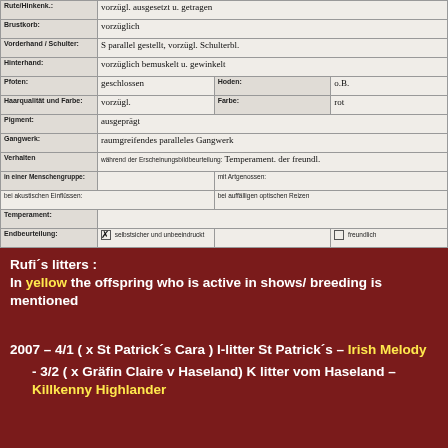| Rute/Hinkenk.: | vorzügl. ausgesetzt u. getragen |
| Brustkorb: | vorzüglich |
| Vorderhand / Schulter: | S parallel gestellt, vorzügl. Schulterbl. |
| Hinterhand: | vorzüglich bemuskelt u. gewinkelt |
| Pfoten: | geschlossen | Hoden: | o.B. |
| Haarqualität und Farbe: | vorzügl. | Farbe: | rot |
| Pigment: | ausgeprägt |
| Gangwerk: | raumgreifendes paralleles Gangwerk |
| Verhalten | während der Erscheinungsbildbeurteilung: Temperament. der freundl. |
| in einer Menschengruppe: |  | mit Artgenossen: |  |
| bei akustischen Einflüssen: |  | bei auffälligen optischen Reizen |  |
| Temperament: |  |
| Endbeurteilung: | ☒ selbstsicher und unbeeindruckt |  | ☐ freundlich |
|  | ☐ unsicher und beeindruckt |  | ☐ ängstlich |
|  | ☐ aggressiv |  |  |
| Widerristhöhe: | 50 | Gewicht: | kein Hinweis auf 'corny feet' ✗ |
| Sonstiges: |  |
| Ergebnis: | 1. Zur Zucht zugelassen | ☐ unbegrenzt |  |
|  |  | ☒ bis zum | 3.03.2008 |
| 4. Angekört (Hund älter als 20 Monate) | ☐ JA | ☒ NEIN |  |
| 2. Zurückgestellt bis: |  | (Begründung siehe unter Sonstiges) |  |
| 3. Zur Zucht nicht zugelassen | ☐ | (Begründung siehe unter Sonstiges) |  |
| Unterschrift: | [signatures] | Korte |  |
Rufi´s litters : In yellow the offspring who is active in shows/ breeding is mentioned
2007 – 4/1 ( x St Patrick´s Cara ) I-litter St Patrick´s – Irish Melody
- 3/2 ( x Gräfin Claire v Haseland) K litter vom Haseland – Killkenny Highlander